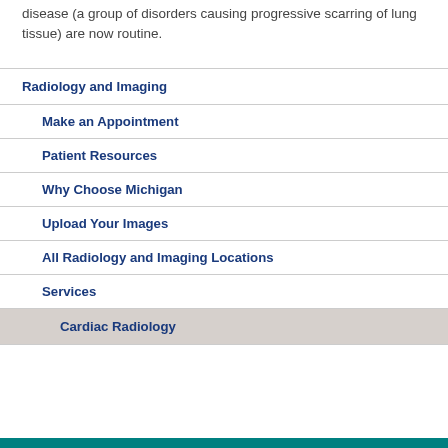disease (a group of disorders causing progressive scarring of lung tissue) are now routine.
Radiology and Imaging
Make an Appointment
Patient Resources
Why Choose Michigan
Upload Your Images
All Radiology and Imaging Locations
Services
Cardiac Radiology